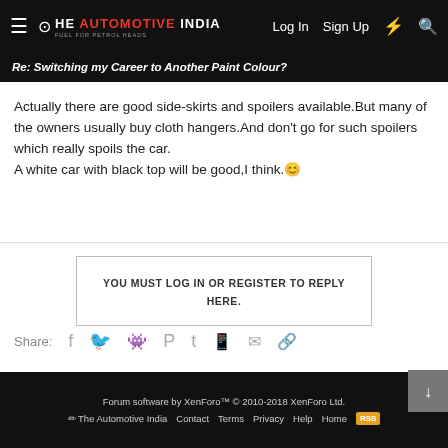The Automotive India — Log In   Sign Up
Re: Switching my Career to Another Paint Colour?
Actually there are good side-skirts and spoilers available.But many of the owners usually buy cloth hangers.And don't go for such spoilers which really spoils the car.
A white car with black top will be good,I think. 😊
YOU MUST LOG IN OR REGISTER TO REPLY HERE.
Share:
Accessories & Modifications
Forum software by XenForo™ © 2010-2018 XenForo Ltd.   The Automotive India   Contact   Terms   Privacy   Help   Home